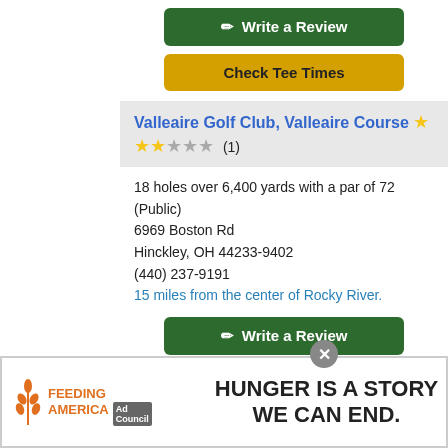[Figure (other): Write a Review button (dark green)]
[Figure (other): Check Tee Times button (gold/yellow)]
Valleaire Golf Club, Valleaire Course ⭐ ⭐☆☆☆ (1)
18 holes over 6,400 yards with a par of 72 (Public)
6969 Boston Rd
Hinckley, OH 44233-9402
(440) 237-9191
15 miles from the center of Rocky River.
[Figure (other): Write a Review button (dark green)]
[Figure (other): Check Tee Times button (gold/yellow)]
Seneca Golf Course, Chippewa Course
[Figure (other): Advertisement banner: Feeding America - HUNGER IS A STORY WE CAN END.]